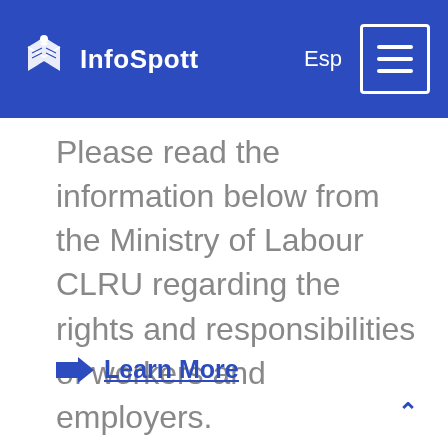InfoSpott | Esp
Please read the information below from the Ministry of Labour CLRU regarding the rights and responsibilities of workers and employers.
➡ Learn More